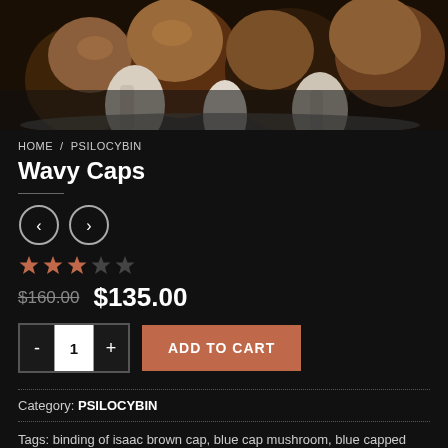[Figure (photo): Close-up photo of brown and white mushrooms on a dark background]
HOME / PSILOCYBIN
Wavy Caps
[Figure (other): Navigation left/right arrow buttons (circles)]
[Figure (other): Star rating: 3 out of 5 stars filled in orange-red]
$160.00  $135.00
[Figure (other): Quantity selector showing 1 with minus and plus buttons, and ADD TO CART button]
Category: PSILOCYBIN
Tags: binding of isaac brown cap, blue cap mushroom, blue capped mushrooms, blue caps mushrooms, buy wavy caps, cap mushroom,